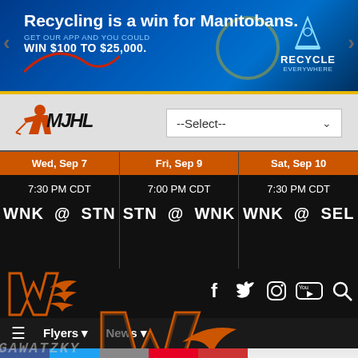[Figure (screenshot): Banner advertisement: Recycling is a win for Manitobans. GET OUR APP AND YOU COULD WIN $100 TO $25,000. RECYCLE EVERYWHERE logo with recycling symbol wizard hat icon.]
[Figure (screenshot): MJHL logo (Manitoba Junior Hockey League) on left, --Select-- dropdown on right]
| Game 1 | Game 2 | Game 3 |
| --- | --- | --- |
| Wed, Sep 7 | Fri, Sep 9 | Sat, Sep 10 |
| 7:30 PM CDT | 7:00 PM CDT | 7:30 PM CDT |
| WNK @ STN | STN @ WNK | WNK @ SEL |
[Figure (logo): Winkler Flyers stylized W logo in orange on black background with social media icons: Facebook, Twitter, Instagram, YouTube, Search]
☰  Flyers ▾  News ▾
[Figure (photo): Hockey players huddled together in orange jerseys on ice with Winkler Flyers logo overlay and GAWATZKY watermark text, social sharing buttons (Facebook, Twitter, Email, Pinterest, Plus)]